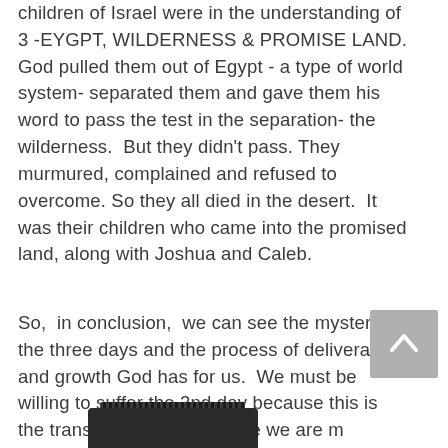children of Israel were in the understanding of 3 -EYGPT, WILDERNESS & PROMISE LAND. God pulled them out of Egypt - a type of world system- separated them and gave them his word to pass the test in the separation- the wilderness.  But they didn't pass. They murmured, complained and refused to overcome. So they all died in the desert.  It was their children who came into the promised land, along with Joshua and Caleb.
So,  in conclusion,  we can see the mystery of the three days and the process of deliverance and growth God has for us.  We must be willing to suffer the 2nd day because this is the transition time and where we are m[obscured]to fail.  It's a